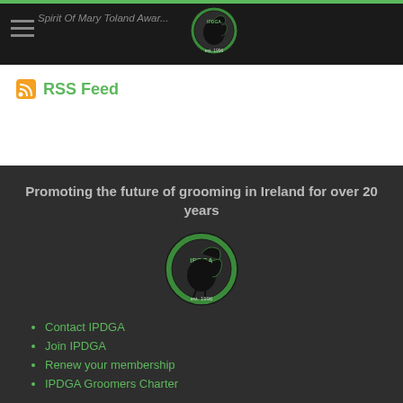Spirit Of Mary Toland Awar...
RSS Feed
Promoting the future of grooming in Ireland for over 20 years
[Figure (logo): IPDGA logo — a black dog silhouette inside a green circular ring with text, est. 1996]
Contact IPDGA
Join IPDGA
Renew your membership
IPDGA Groomers Charter